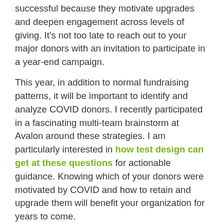successful because they motivate upgrades and deepen engagement across levels of giving. It's not too late to reach out to your major donors with an invitation to participate in a year-end campaign.
This year, in addition to normal fundraising patterns, it will be important to identify and analyze COVID donors. I recently participated in a fascinating multi-team brainstorm at Avalon around these strategies. I am particularly interested in how test design can get at these questions for actionable guidance. Knowing which of your donors were motivated by COVID and how to retain and upgrade them will benefit your organization for years to come.
On a related note, kudos to the Avalon Analytics team on the launch of our new VitalStats™ Dashboard. As many of you know, these views are essential for nonprofits to manage the changing fundraising